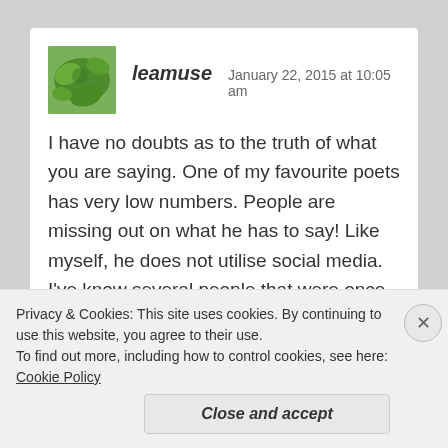leamuse   January 22, 2015 at 10:05 am
I have no doubts as to the truth of what you are saying. One of my favourite poets has very low numbers. People are missing out on what he has to say! Like myself, he does not utilise social media. I've know several people that were once on FB but had a number of issues with it.
I've seen terrible blogs and posts with high numbers, and all of them on some form of social media.
No, numbers are not a sufficient reason for me to...
Privacy & Cookies: This site uses cookies. By continuing to use this website, you agree to their use.
To find out more, including how to control cookies, see here: Cookie Policy
Close and accept